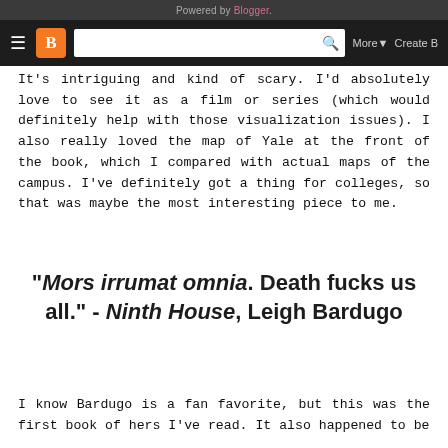Powered by Blogger. More ▾  Create B
It's intriguing and kind of scary. I'd absolutely love to see it as a film or series (which would definitely help with those visualization issues). I also really loved the map of Yale at the front of the book, which I compared with actual maps of the campus. I've definitely got a thing for colleges, so that was maybe the most interesting piece to me.
"Mors irrumat omnia. Death fucks us all." - Ninth House, Leigh Bardugo
I know Bardugo is a fan favorite, but this was the first book of hers I've read. It also happened to be